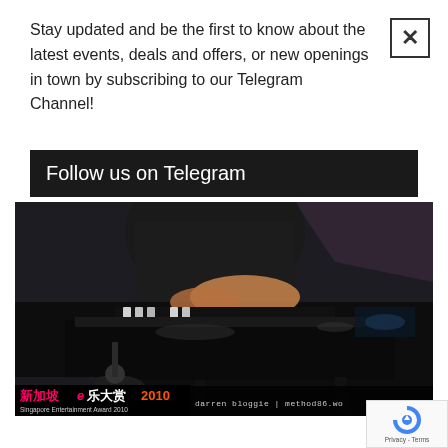Stay updated and be the first to know about the latest events, deals and offers, or new openings in town by subscribing to our Telegram Channel!
Follow us on Telegram
[Figure (photo): Person playing a grand piano on stage, dark background, close-up of hands on keys. Bottom left shows Singapore Entertainment Award 2010 badge in red/pink Chinese and English text. Bottom text reads: darren bloggie | method86.wo]
darren bloggie | method86.wo